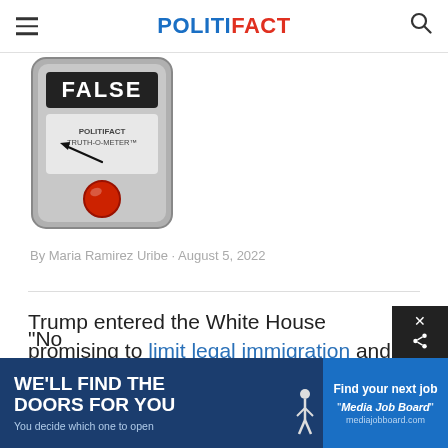POLITIFACT
[Figure (illustration): PolitiFact Truth-O-Meter gauge showing FALSE reading with red indicator light and arrow pointing left]
By Maria Ramirez Uribe · August 5, 2022
Trump entered the White House promising to limit legal immigration and his refugee admissions ceilings have decreased year after year, setting record lows.
"No